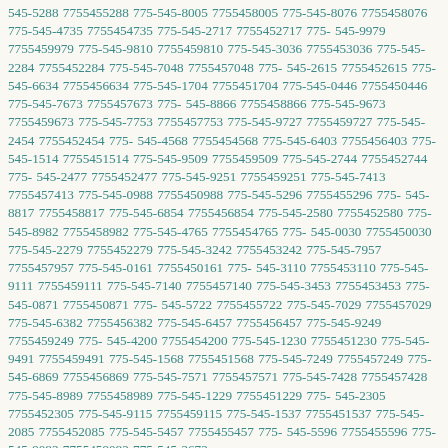545-5288 7755455288 775-545-8005 7755458005 775-545-8076 7755458076 775-545-4735 7755454735 775-545-2717 7755452717 775-545-9979 7755459979 775-545-9810 7755459810 775-545-3036 7755453036 775-545-2284 7755452284 775-545-7048 7755457048 775-545-2615 7755452615 775-545-6634 7755456634 775-545-1704 7755451704 775-545-0446 7755450446 775-545-7673 7755457673 775-545-8866 7755458866 775-545-9673 7755459673 775-545-7753 7755457753 775-545-9727 7755459727 775-545-2454 7755452454 775-545-4568 7755454568 775-545-6403 7755456403 775-545-1514 7755451514 775-545-9509 7755459509 775-545-2744 7755452744 775-545-2477 7755452477 775-545-9251 7755459251 775-545-7413 7755457413 775-545-0988 7755450988 775-545-5296 7755455296 775-545-8817 7755458817 775-545-6854 7755456854 775-545-2580 7755452580 775-545-8982 7755458982 775-545-4765 7755454765 775-545-0030 7755450030 775-545-2279 7755452279 775-545-3242 7755453242 775-545-7957 7755457957 775-545-0161 7755450161 775-545-3110 7755453110 775-545-9111 7755459111 775-545-7140 7755457140 775-545-3453 7755453453 775-545-0871 7755450871 775-545-5722 7755455722 775-545-7029 7755457029 775-545-6382 7755456382 775-545-6457 7755456457 775-545-9249 7755459249 775-545-4200 7755454200 775-545-1230 7755451230 775-545-9491 7755459491 775-545-1568 7755451568 775-545-7249 7755457249 775-545-6869 7755456869 775-545-7571 7755457571 775-545-7428 7755457428 775-545-8989 7755458989 775-545-1229 7755451229 775-545-2305 7755452305 775-545-9115 7755459115 775-545-1537 7755451537 775-545-2085 7755452085 775-545-5457 7755455457 775-545-5596 7755455596 775-545-9082 7755459082 775-545-2672